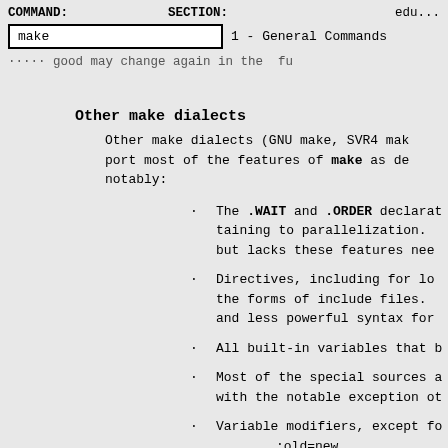COMMAND: make   SECTION: 1 - General Commands   edu...
...future good may change again in the fu
Other make dialects
Other make dialects (GNU make, SVR4 make) support most of the features of make as described, notably:
The .WAIT and .ORDER declarations pertaining to parallelization. but lacks these features need
Directives, including for loops, and the forms of include files. and less powerful syntax for
All built-in variables that b
Most of the special sources a with the notable exception ot
Variable modifiers, except fo :old=new string substitution, which do